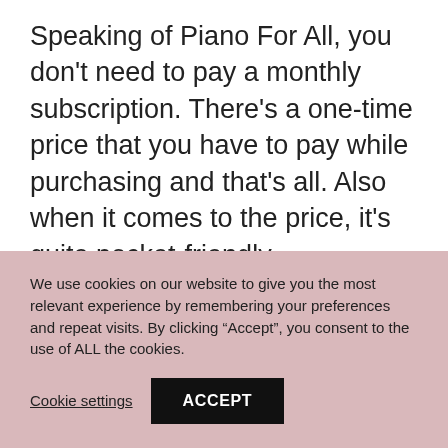Speaking of Piano For All, you don't need to pay a monthly subscription. There's a one-time price that you have to pay while purchasing and that's all. Also when it comes to the price, it's quite pocket-friendly.

It costs $79 (one-time price), although they had a limited-time discount when I
We use cookies on our website to give you the most relevant experience by remembering your preferences and repeat visits. By clicking “Accept”, you consent to the use of ALL the cookies.
Cookie settings
ACCEPT